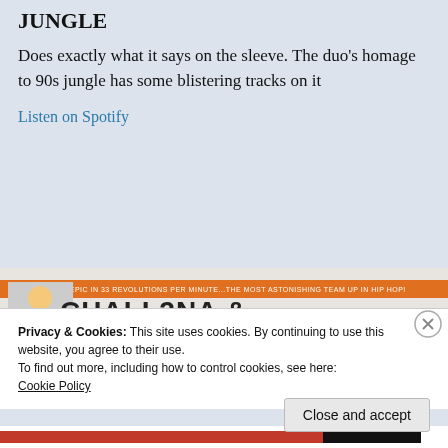JUNGLE
Does exactly what it says on the sleeve. The duo's homage to 90s jungle has some blistering tracks on it
Listen on Spotify
[Figure (other): Comic book album cover showing 'CHALI 2NA & KRAFTWERK' style stylized text on a black and white comic art background with an orange banner headline at the top]
Privacy & Cookies: This site uses cookies. By continuing to use this website, you agree to their use.
To find out more, including how to control cookies, see here: Cookie Policy
Close and accept